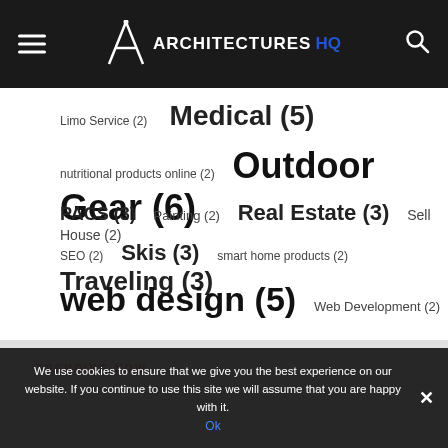Architectures HQ
Limo Service (2)
Medical (5)
nutritional products online (2)
Outdoor Gear (6)
PACS (3)
Painting (2)
Real Estate (3)
Sell House (2)
SEO (2)
Skis (3)
smart home products (2)
Traveling (3)
web design (5)
Web Development (2)
TRENDING NOW
We use cookies to ensure that we give you the best experience on our website. If you continue to use this site we will assume that you are happy with it. Ok